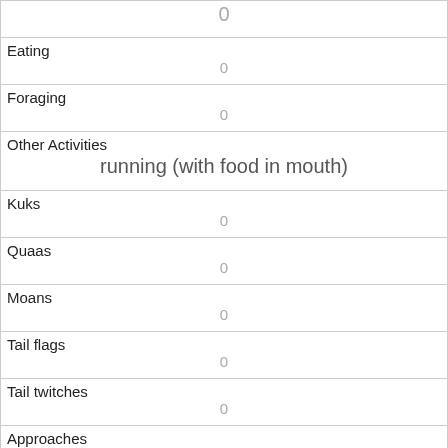| 0 |
| Eating | 0 |
| Foraging | 0 |
| Other Activities | running (with food in mouth) |
| Kuks | 0 |
| Quaas | 0 |
| Moans | 0 |
| Tail flags | 0 |
| Tail twitches | 0 |
| Approaches | 0 |
| Indifferent | 1 |